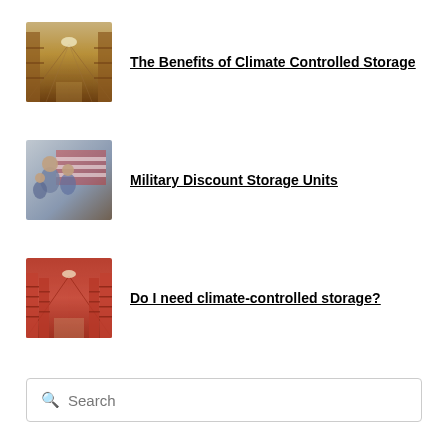The Benefits of Climate Controlled Storage
Military Discount Storage Units
Do I need climate-controlled storage?
Search